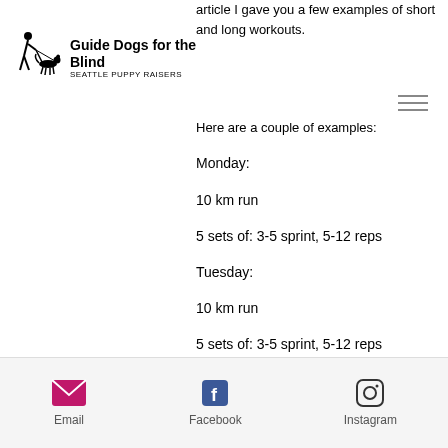article I gave you a few examples of short and long workouts.
[Figure (logo): Guide Dogs for the Blind logo with person walking dog silhouette, text 'Guide Dogs for the Blind' and 'SEATTLE PUPPY RAISERS']
Here are a couple of examples:
Monday:
10 km run
5 sets of: 3-5 sprint, 5-12 reps
Tuesday:
10 km run
5 sets of: 3-5 sprint, 5-12 reps
Thursday:
Email  Facebook  Instagram